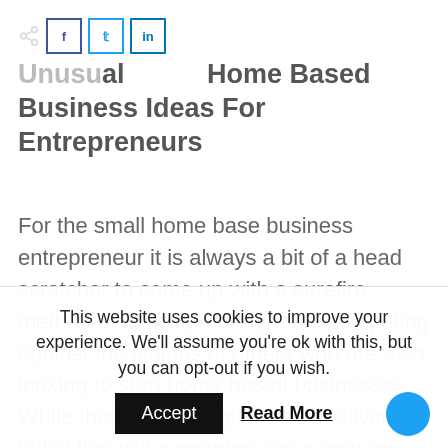Unusual Home Based Business Ideas For Entrepreneurs
For the small home base business entrepreneur it is always a bit of a head scratcher to come up with a surefire method of making money while competing against the legions of others who are also looking to start home based businesses. While there is no magic wand or silver bullet that will guarantee you a spot on the cutting
This website uses cookies to improve your experience. We'll assume you're ok with this, but you can opt-out if you wish.
Accept   Read More